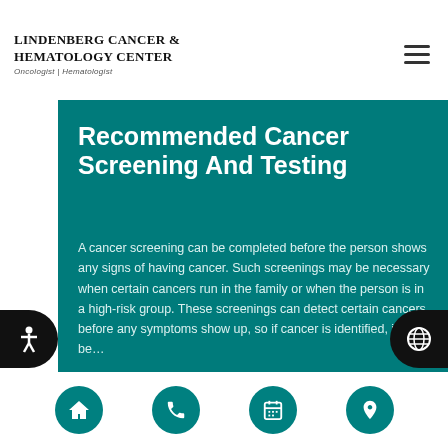Lindenberg Cancer & Hematology Center | Oncologist | Hematologist
Recommended Cancer Screening And Testing
A cancer screening can be completed before the person shows any signs of having cancer. Such screenings may be necessary when certain cancers run in the family or when the person is in a high-risk group. These screenings can detect certain cancers before any symptoms show up, so if cancer is identified, it can be…
[Figure (photo): Photo of a person wearing a white knit hat against a grey background, partially visible at bottom of teal content block]
Navigation bar with home, phone, calendar, and location icons